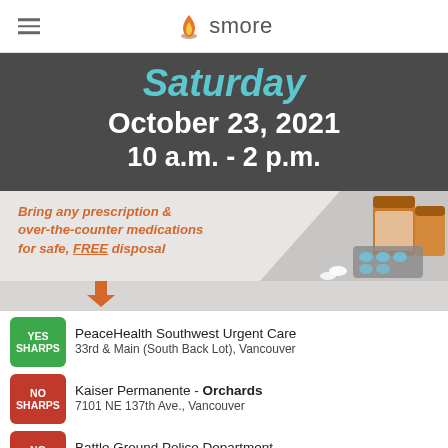smore
[Figure (infographic): Event flyer for drug take-back day. Saturday October 23, 2021, 10 a.m. - 2 p.m. Bring any prescription & over-the-counter medications for safe, FREE disposal. Dark gray background with orange/teal text. Image of pill bottles and blister packs.]
YES SHARPS — PeaceHealth Southwest Urgent Care, 33rd & Main (South Back Lot), Vancouver
NO SHARPS — Kaiser Permanente - Orchards, 7101 NE 137th Ave., Vancouver
NO SHARPS — Battle Ground Police Department, 507 SW 1st St., Battle Ground
NO — Washougal Silver Star Search & Rescue, 1220 A St., Washougal